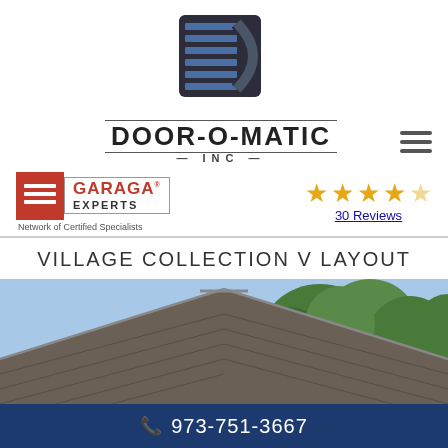[Figure (logo): Door-O-Matic Inc logo: geometric square with horizontal lines and a D-shape arc, in dark navy/black]
DOOR-O-MATIC INC
[Figure (logo): Garaga Experts - Network of Certified Specialists logo with red background icon and bordered text]
[Figure (other): 4.5 star rating with text '30 Reviews']
VILLAGE COLLECTION V LAYOUT
[Figure (photo): Photo of a house rooftop with dark shingles, white trim/fascia, and green trees in background]
973-751-3667